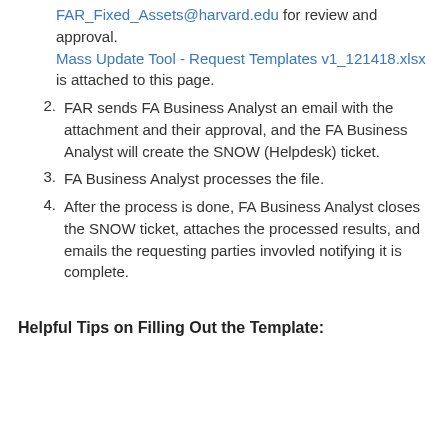FAR_Fixed_Assets@harvard.edu for review and approval. Mass Update Tool - Request Templates v1_121418.xlsx is attached to this page.
FAR sends FA Business Analyst an email with the attachment and their approval, and the FA Business Analyst will create the SNOW (Helpdesk) ticket.
FA Business Analyst processes the file.
After the process is done, FA Business Analyst closes the SNOW ticket, attaches the processed results, and emails the requesting parties invovled notifying it is complete.
Helpful Tips on Filling Out the Template: